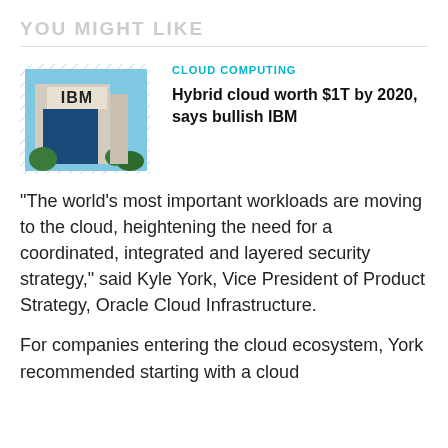YOU MIGHT LIKE
[Figure (photo): IBM building exterior with IBM logo sign, blue sky background]
CLOUD COMPUTING
Hybrid cloud worth $1T by 2020, says bullish IBM
“The world’s most important workloads are moving to the cloud, heightening the need for a coordinated, integrated and layered security strategy,” said Kyle York, Vice President of Product Strategy, Oracle Cloud Infrastructure.
For companies entering the cloud ecosystem, York recommended starting with a cloud